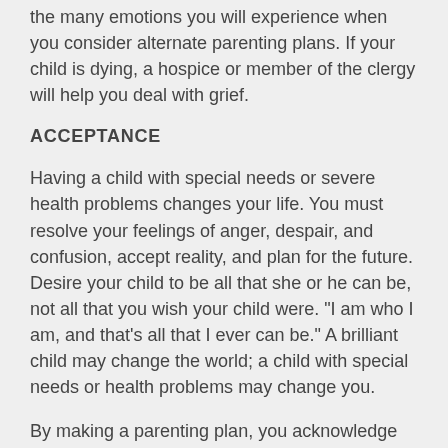the many emotions you will experience when you consider alternate parenting plans. If your child is dying, a hospice or member of the clergy will help you deal with grief.
ACCEPTANCE
Having a child with special needs or severe health problems changes your life. You must resolve your feelings of anger, despair, and confusion, accept reality, and plan for the future. Desire your child to be all that she or he can be, not all that you wish your child were. "I am who I am, and that's all that I ever can be." A brilliant child may change the world; a child with special needs or health problems may change you.
By making a parenting plan, you acknowledge your child's worth and dignity as well as your own. Both of you